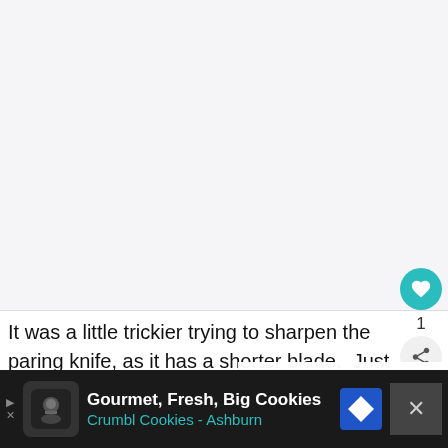[Figure (photo): Large image area - light gray background, appears to be a recipe/cooking photo (top portion visible)]
It was a little trickier trying to sharpen the paring knife, as it has a shorter blade.  Just set it down, let the m[agnet grab] the blade, and give it several passes on each side of the knife.
[Figure (other): What's Next overlay showing Onion Straws with circular thumbnail]
[Figure (other): Advertisement bar: Gourmet, Fresh, Big Cookies - Crumbl Cookies - Ashburn]